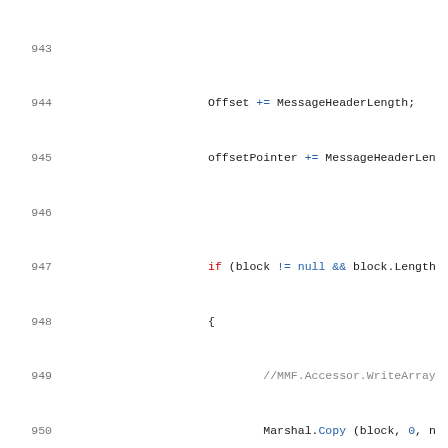Source code listing, lines 943-965, C# code for message buffer operations including WriteContinuation method.